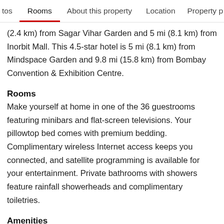tos  Rooms  About this property  Location  Property p
(2.4 km) from Sagar Vihar Garden and 5 mi (8.1 km) from Inorbit Mall. This 4.5-star hotel is 5 mi (8.1 km) from Mindspace Garden and 9.8 mi (15.8 km) from Bombay Convention & Exhibition Centre.
Rooms
Make yourself at home in one of the 36 guestrooms featuring minibars and flat-screen televisions. Your pillowtop bed comes with premium bedding. Complimentary wireless Internet access keeps you connected, and satellite programming is available for your entertainment. Private bathrooms with showers feature rainfall showerheads and complimentary toiletries.
Amenities
Don't miss out on the many recreational opportunities,